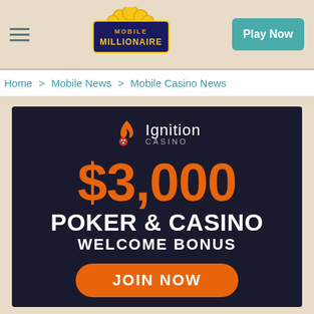[Figure (logo): Mobile Millionaire logo with gold coins and red/yellow text on beige background]
Play Now
Home > Mobile News > Mobile Casino News
[Figure (infographic): Ignition Casino advertisement banner with dark navy background showing $3,000 Poker & Casino Welcome Bonus with orange JOIN NOW button]